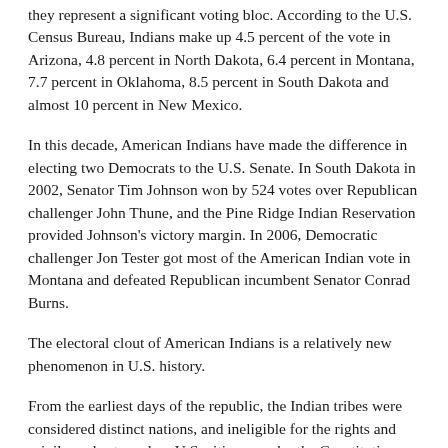they represent a significant voting bloc. According to the U.S. Census Bureau, Indians make up 4.5 percent of the vote in Arizona, 4.8 percent in North Dakota, 6.4 percent in Montana, 7.7 percent in Oklahoma, 8.5 percent in South Dakota and almost 10 percent in New Mexico.
In this decade, American Indians have made the difference in electing two Democrats to the U.S. Senate. In South Dakota in 2002, Senator Tim Johnson won by 524 votes over Republican challenger John Thune, and the Pine Ridge Indian Reservation provided Johnson's victory margin. In 2006, Democratic challenger Jon Tester got most of the American Indian vote in Montana and defeated Republican incumbent Senator Conrad Burns.
The electoral clout of American Indians is a relatively new phenomenon in U.S. history.
From the earliest days of the republic, the Indian tribes were considered distinct nations, and ineligible for the rights and privileges bestowed on U.S. citizens under the Constitution. As such, they also were exempt from paying taxes.